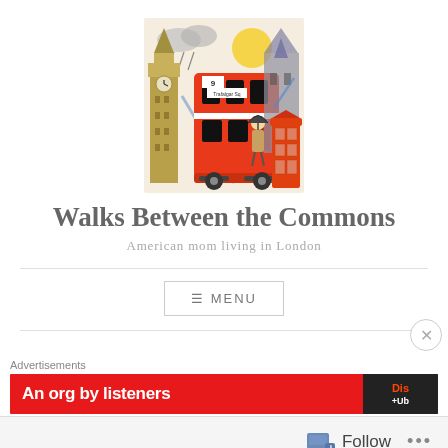[Figure (illustration): London-themed illustration with Big Ben, a red double-decker bus (route 9), a red telephone box, a figure with umbrella, rain clouds and a sun in the background]
Walks Between the Commons
American mom living in London
[Figure (screenshot): Menu button with hamburger icon and text MENU inside a bordered box]
Advertisements
[Figure (screenshot): Red advertisement banner with bold white text and Dis+Ub logo on right]
[Figure (screenshot): Follow bar at bottom with follow icon, Follow text, and ... button]